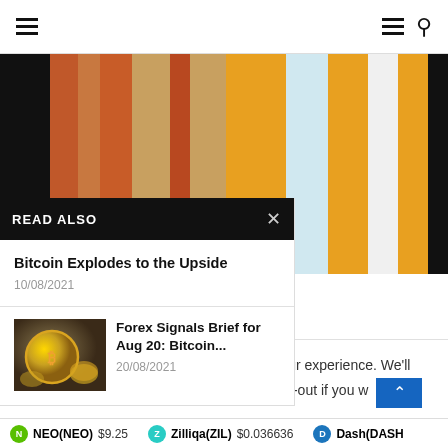Navigation header with hamburger menu and search icon
[Figure (illustration): Colorful vertical bar chart-like image with orange, rust, tan, amber, light blue, and white vertical color bands]
READ ALSO
Bitcoin Explodes to the Upside
10/08/2021
[Figure (photo): Thumbnail photo of a gold Bitcoin coin]
Forex Signals Brief for Aug 20: Bitcoin...
20/08/2021
This website uses cookies to improve your experience. We'll assume you're ok with this, but you can opt-out if you w
NEO(NEO) $9.25   Zilliqa(ZIL) $0.036636   Dash(DASH)